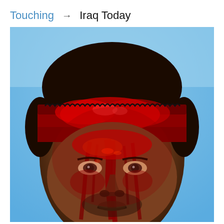Touching → Iraq Today
[Figure (photo): Close-up portrait photograph of a man with his face heavily covered in blood, wearing a blood-soaked red cloth tied around his head. The photo is taken against a clear blue sky background. The man's face shows blood streaming down from the head covering across his forehead, eyes, cheeks and chin. The image appears to be from a Shia Muslim Ashura religious observance.]